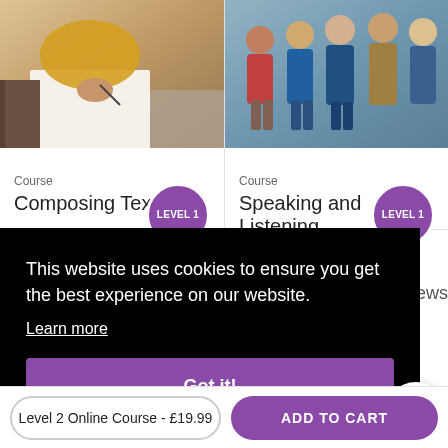[Figure (photo): Person writing with a pen on paper, wearing a yellow/orange top, with books visible. Purple badge overlay reading LEVEL 1.]
Course
Composing Text
[Figure (photo): Group of people standing/talking together in a social setting. Purple badge overlay reading LEVEL 1.]
Course
Speaking and Listening
This website uses cookies to ensure you get the best experience on our website.
Learn more
Got it!
Level 2 Online Course - £19.99
ADD TO CART